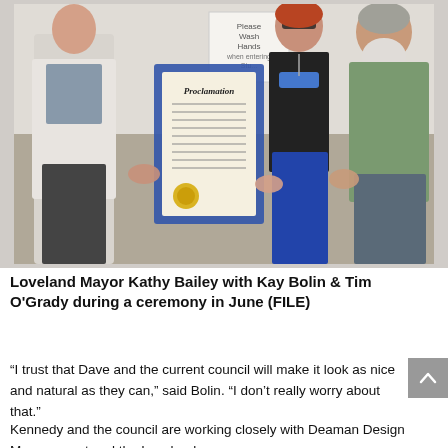[Figure (photo): Photo of Loveland Mayor Kathy Bailey with Kay Bolin and Tim O'Grady during a ceremony in June. Several people are shown holding a framed Proclamation document outdoors. A sign reading 'Please Wash Hands' is visible in the background.]
Loveland Mayor Kathy Bailey with Kay Bolin & Tim O'Grady during a ceremony in June (FILE)
“I trust that Dave and the current council will make it look as nice and natural as they can,” said Bolin. “I don’t really worry about that.”
Kennedy and the council are working closely with Deaman Design Management and the Loveland...